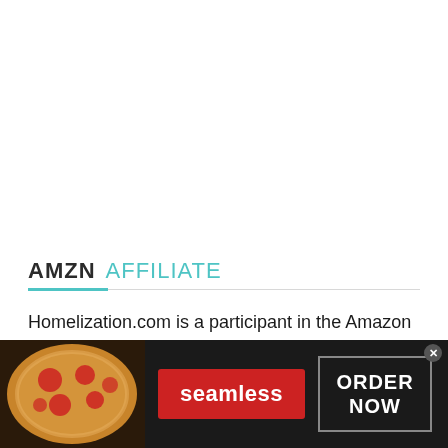AMZN AFFILIATE
Homelization.com is a participant in the Amazon Services LLC Associates Program, an affiliate advertising program designed to provide a means
[Figure (infographic): Seamless food delivery advertisement banner with pizza image on the left, a red Seamless button in the center, and an ORDER NOW button on the right against a dark background.]